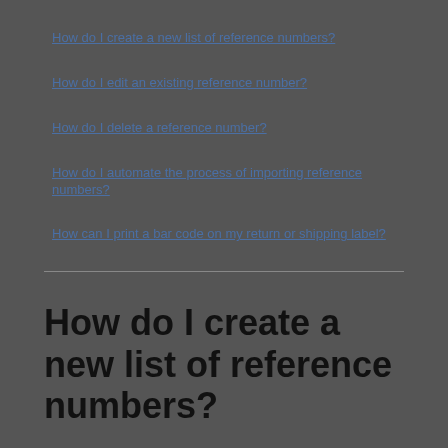How do I create a new list of reference numbers?
How do I edit an existing reference number?
How do I delete a reference number?
How do I automate the process of importing reference numbers?
How can I print a bar code on my return or shipping label?
How do I create a new list of reference numbers?